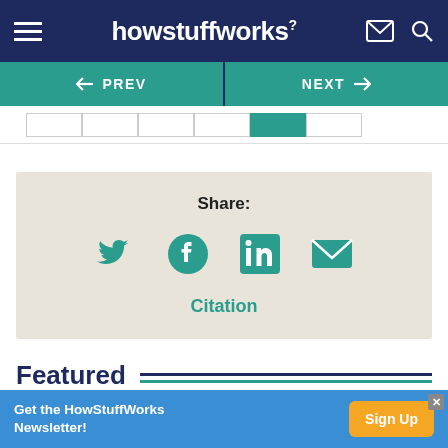howstuffworks
[Figure (screenshot): Navigation bar with PREV and NEXT buttons on teal background, and a partial table stub below]
[Figure (infographic): Share section with Twitter, Facebook, LinkedIn, and Email icons on beige background, plus Citation link]
Featured
[Figure (infographic): Advertisement banner: Get the HowStuffWorks Newsletter! with Sign Up button]